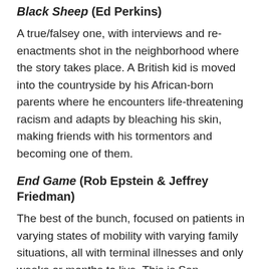Black Sheep (Ed Perkins)
A true/falsey one, with interviews and re-enactments shot in the neighborhood where the story takes place. A British kid is moved into the countryside by his African-born parents where he encounters life-threatening racism and adapts by bleaching his skin, making friends with his tormentors and becoming one of them.
End Game (Rob Epstein & Jeffrey Friedman)
The best of the bunch, focused on patients in varying states of mobility with varying family situations, all with terminal illnesses and only weeks or months to live. This is San Francisco, and the terminal patients are given palliative care (treating only the pain, since the symptoms are determined to be incurable) and told to make their peace. It's a movie, so you know one of